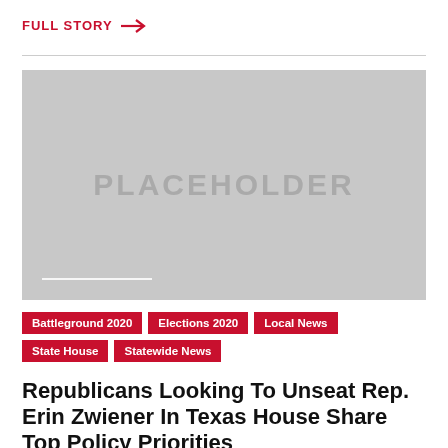FULL STORY →
[Figure (photo): Placeholder image with gray background and 'PLACEHOLDER' text centered, with a white bar at the bottom left.]
Battleground 2020
Elections 2020
Local News
State House
Statewide News
Republicans Looking To Unseat Rep. Erin Zwiener In Texas House Share Top Policy Priorities